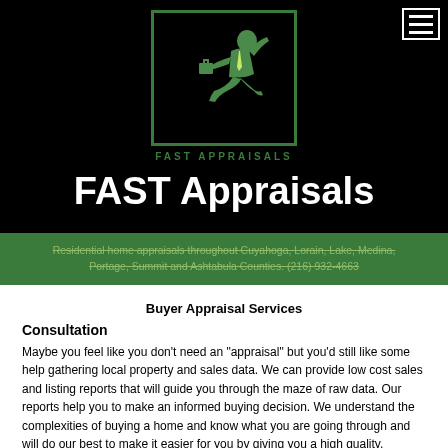[Figure (logo): FAST Appraisals logo: green silhouette of a running businessman with briefcase inside a green-bordered black rectangle, with 'FAST APPRAISALS' text below in green]
FAST Appraisals
Residential home appraisals throughout Cuyahoga, Lorain, Lake, Medina, Portage, Summit and Ashtabula Counties. (216) 932-4663
Buyer Appraisal Services
Consultation
Maybe you feel like you don't need an "appraisal" but you'd still like some help gathering local property and sales data. We can provide low cost sales and listing reports that will guide you through the maze of raw data. Our reports help you to make an informed buying decision. We understand the complexities of buying a home and know what you are going through and will do our best to make it easier for you by giving you a high quality, professional appraisal that you can depend on!